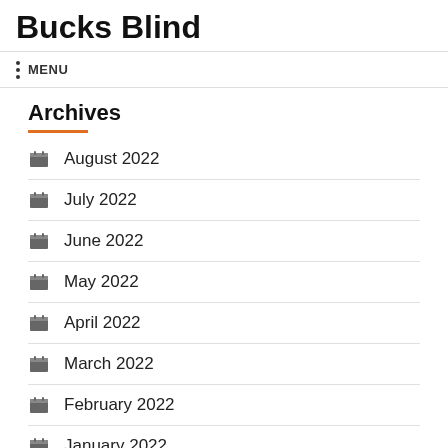Bucks Blind
MENU
Archives
August 2022
July 2022
June 2022
May 2022
April 2022
March 2022
February 2022
January 2022
December 2021